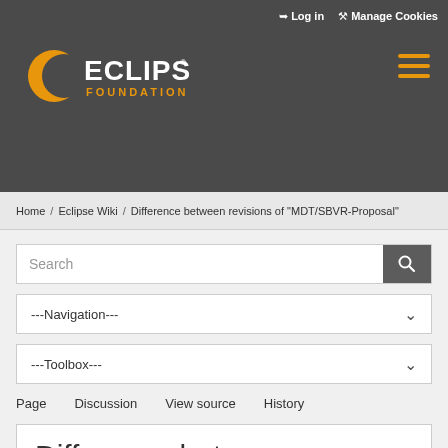Log in  Manage Cookies
[Figure (logo): Eclipse Foundation logo with orange crescent and white ECLIPSE text, orange FOUNDATION text below]
Home / Eclipse Wiki / Difference between revisions of "MDT/SBVR-Proposal"
Search
---Navigation---
---Toolbox---
Page   Discussion   View source   History
Difference between revisions of